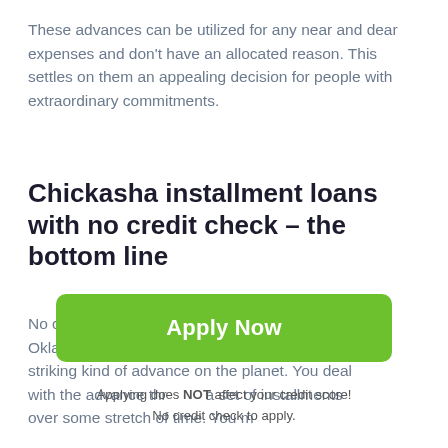These advances can be utilized for any near and dear expenses and don't have an allocated reason. This settles on them an appealing decision for people with extraordinary commitments.
Chickasha installment loans with no credit check – the bottom line
No credit check installment loans Chickasha in Oklahoma OK are uncomplicated and the most striking kind of advance on the planet. You deal with the advance through a set of installments over some stretch of time. You may
[Figure (other): Green 'Apply Now' button]
Applying does NOT affect your credit score!
No credit check to apply.